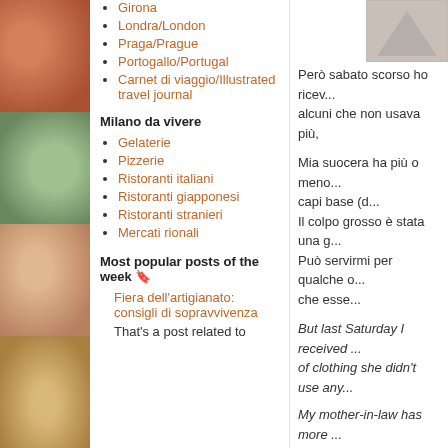[Figure (illustration): Decorative fabric/floral patterned left strip with four segments in terracotta, sage green, peach, and gold colors]
Girona
Londra/London
Praga/Prague
Portogallo/Portugal
Carnet di viaggio/Illustrated travel journal
Milano da vivere
Gelaterie
Pizzerie
Ristoranti italiani
Ristoranti giapponesi
Ristoranti stranieri
Mercati rionali
Most popular posts of the week 🔖
Fiera dell'artigianato: consigli di sopravvivenza
That's a post related to
[Figure (photo): Partial image visible at top right corner]
Però sabato scorso ho ricev... alcuni che non usava più,
Mia suocera ha più o meno... capi base (d... Il colpo grosso è stata una g... Può servirmi per qualche o... che esse...
But last Saturday I received ... of clothing she didn't use any...
My mother-in-law has more ... just basic garm... My major coup was a 100%... may be useful for some se...
[Figure (photo): Bottom right partial photo of a person]